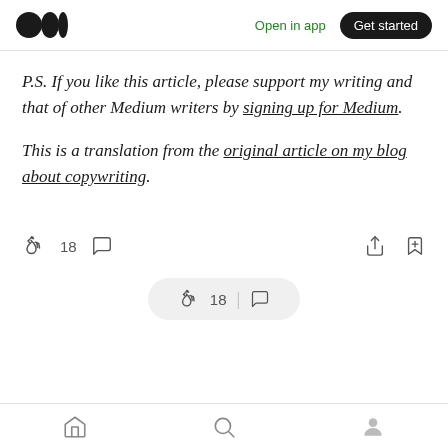Medium logo | Open in app | Get started
P.S. If you like this article, please support my writing and that of other Medium writers by signing up for Medium.
This is a translation from the original article on my blog about copywriting.
[Figure (screenshot): Reaction bar with clap icon showing 18 claps, comment icon, share icon, and bookmark+ icon]
[Figure (screenshot): Floating pill with clap icon, 18 count, divider, and comment icon]
[Figure (screenshot): Bottom navigation bar with home, search, and profile icons]